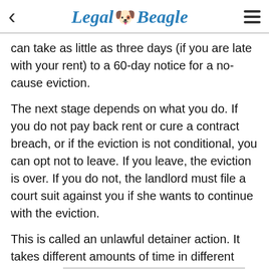Legal Beagle
can take as little as three days (if you are late with your rent) to a 60-day notice for a no-cause eviction.
The next stage depends on what you do. If you do not pay back rent or cure a contract breach, or if the eviction is not conditional, you can opt not to leave. If you leave, the eviction is over. If you do not, the landlord must file a court suit against you if she wants to continue with the eviction.
This is called an unlawful detainer action. It takes different amounts of time in different states. In many states, it is fast-tracked, that is, it moves along faster than other cases, with shorter time